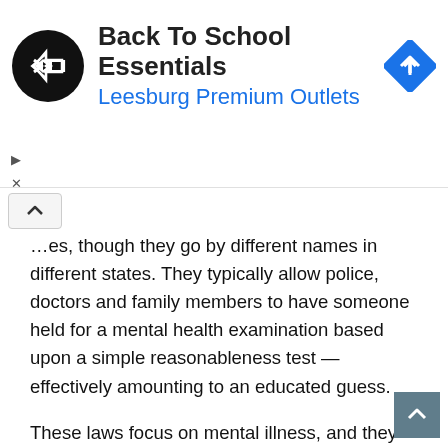[Figure (screenshot): Advertisement banner for 'Back To School Essentials' by Leesburg Premium Outlets, featuring a black circular logo with chevron arrows, navigation diamond icon, and play/close controls.]
...es, though they go by different names in different states. They typically allow police, doctors and family members to have someone held for a mental health examination based upon a simple reasonableness test — effectively amounting to an educated guess.
These laws focus on mental illness, and they require that mental health care experts evaluate the individual. If a person can't afford a lawyer, a public defender is provided. While judges can choose to involuntarily commit individuals who they believe are dangers to themselves or to others, there is a broad range of other, less extreme options that involve monitoring or mandatory mental care.